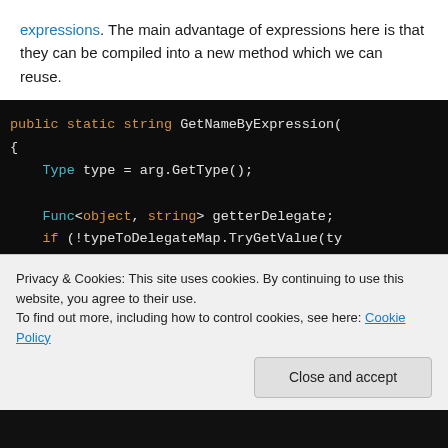expressions. The main advantage of expressions here is that they can be compiled into a new method which we can reuse.
[Figure (screenshot): Code block on dark background showing C# method: public static string GetNameByExpression( { Type type = arg.GetType(); Func<object, string> getterDelegate; if (!typeToDelegateMap.TryGetValue(ty { ]
Privacy & Cookies: This site uses cookies. By continuing to use this website, you agree to their use.
To find out more, including how to control cookies, see here: Cookie Policy
Close and accept